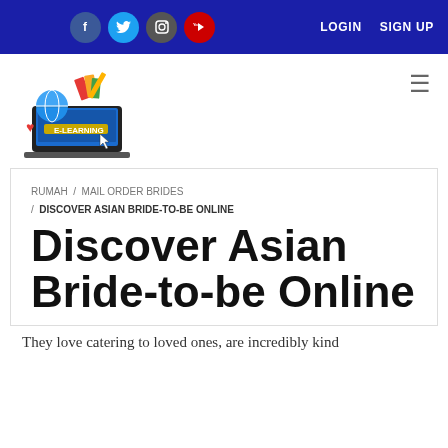LOGIN  SIGN UP
[Figure (logo): E-learning website logo with laptop, globe, and school items]
RUMAH / MAIL ORDER BRIDES / DISCOVER ASIAN BRIDE-TO-BE ONLINE
Discover Asian Bride-to-be Online
They love catering to loved ones, are incredibly kind